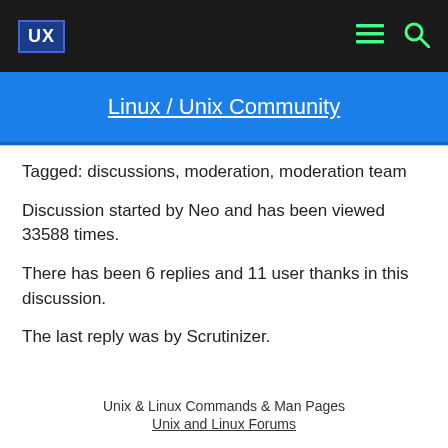UX  [menu icon]  [search icon]
Linux / Unix Community
Tagged: discussions, moderation, moderation team
Discussion started by Neo and has been viewed 33588 times.
There has been 6 replies and 11 user thanks in this discussion.
The last reply was by Scrutinizer.
Unix & Linux Commands & Man Pages
Unix and Linux Forums